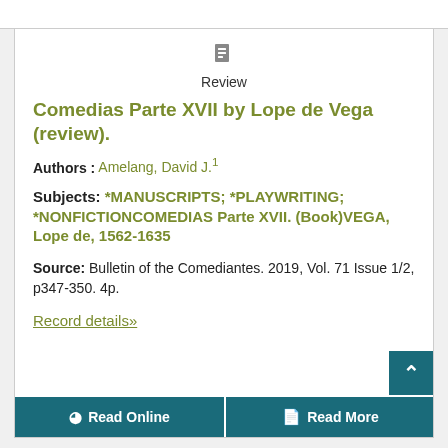Review
Comedias Parte XVII by Lope de Vega (review).
Authors : Amelang, David J.¹
Subjects: *MANUSCRIPTS; *PLAYWRITING; *NONFICTIONCOMEDIAS Parte XVII. (Book)VEGA, Lope de, 1562-1635
Source: Bulletin of the Comediantes. 2019, Vol. 71 Issue 1/2, p347-350. 4p.
Record details»
Read Online  Read More